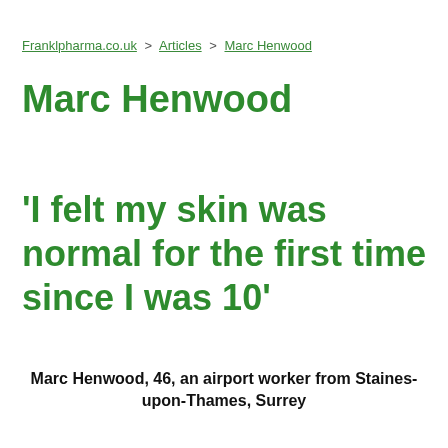Franklpharma.co.uk > Articles > Marc Henwood
Marc Henwood
'I felt my skin was normal for the first time since I was 10'
Marc Henwood, 46, an airport worker from Staines-upon-Thames, Surrey